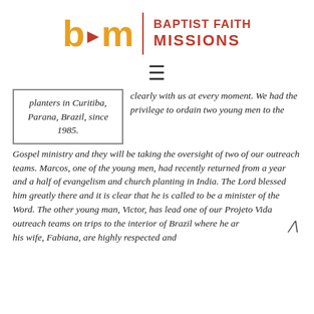[Figure (logo): Baptist Faith Missions logo with 'bfm' in orange/gold bold letters, a vertical magenta divider line, and 'BAPTIST FAITH MISSIONS' in magenta bold text to the right.]
≡
planters in Curitiba, Parana, Brazil, since 1985.
clearly with us at every moment. We had the privilege to ordain two young men to the Gospel ministry and they will be taking the oversight of two of our outreach teams. Marcos, one of the young men, had recently returned from a year and a half of evangelism and church planting in India. The Lord blessed him greatly there and it is clear that he is called to be a minister of the Word. The other young man, Victor, has lead one of our Projeto Vida outreach teams on trips to the interior of Brazil where he ar his wife, Fabiana, are highly respected and